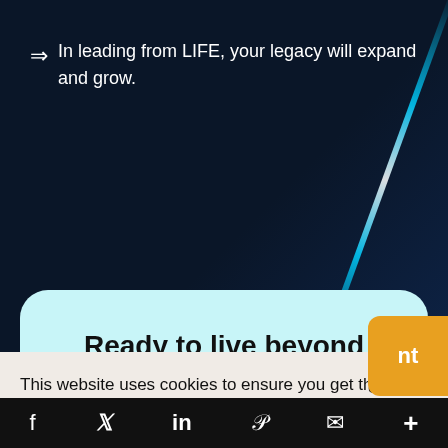⇒  In leading from LIFE, your legacy will expand and grow.
Ready to live beyond limits?
This website uses cookies to ensure you get the best experience on our website. See our Privacy Policy.
ed for
our
g for
I Accept
nt
f  𝕏  in  𝒫  ✉  +